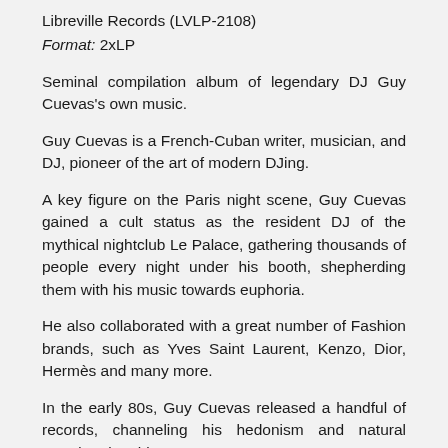Libreville Records (LVLP-2108)
Format: 2xLP
Seminal compilation album of legendary DJ Guy Cuevas's own music.
Guy Cuevas is a French-Cuban writer, musician, and DJ, pioneer of the art of modern DJing.
A key figure on the Paris night scene, Guy Cuevas gained a cult status as the resident DJ of the mythical nightclub Le Palace, gathering thousands of people every night under his booth, shepherding them with his music towards euphoria.
He also collaborated with a great number of Fashion brands, such as Yves Saint Laurent, Kenzo, Dior, Hermès and many more.
In the early 80s, Guy Cuevas released a handful of records, channeling his hedonism and natural grandeur into his